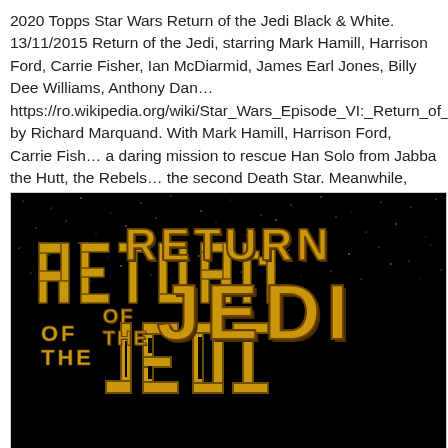2020 Topps Star Wars Return of the Jedi Black & White. 13/11/2015 Return of the Jedi, starring Mark Hamill, Harrison Ford, Carrie Fisher, Ian McDiarmid, James Earl Jones, Billy Dee Williams, Anthony Dan... https://ro.wikipedia.org/wiki/Star_Wars_Episode_VI:_Return_of_the... by Richard Marquand. With Mark Hamill, Harrison Ford, Carrie Fish... a daring mission to rescue Han Solo from Jabba the Hutt, the Rebels... the second Death Star. Meanwhile, Luke struggles to help Darth Vad... without falling into the Emperor's trap..
[Figure (photo): Movie title card / logo image for Star Wars: Return of the Jedi — gold block letters on a black starfield background showing 'RETURN OF THE JEDI' text in the classic Star Wars logo style.]